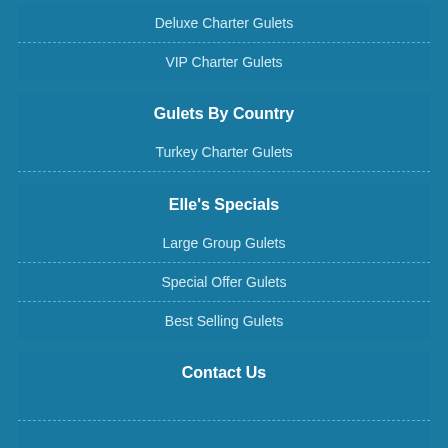Deluxe Charter Gulets
VIP Charter Gulets
Gulets By Country
Turkey Charter Gulets
Elle's Specials
Large Group Gulets
Special Offer Gulets
Best Selling Gulets
Contact Us
Home   About Us   How To Book a Yacht?   English ▲
© Elle Yachting & Brokerage. All rights reserved.